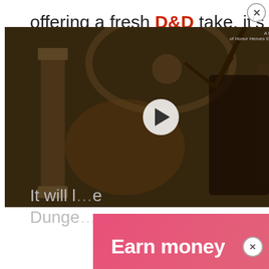offering a fresh D&D take, it's exciting for fans of the TableTop adventure to take tha... also makes it the perfect chan... interested in the world of Table...
[Figure (screenshot): Video player overlay with dark fantasy scene background (sepia-toned dungeon/castle interior), play button in center, close button top-right, small label text top-right]
It will b... e Dunge... me
[Figure (screenshot): Pink/red gradient advertisement banner with bold white text 'Earn money' and a gold coin graphic on the right, close (X) button at top-right]